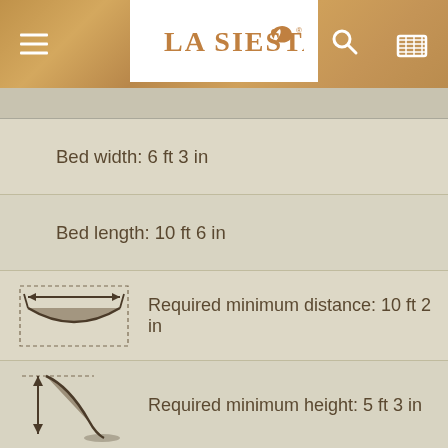[Figure (logo): La Siesta logo with navigation bar including hamburger menu, search icon, and cart icon on a wood-texture background]
Bed width: 6 ft 3 in
Bed length: 10 ft 6 in
Required minimum distance: 10 ft 2 in
Required minimum height: 5 ft 3 in